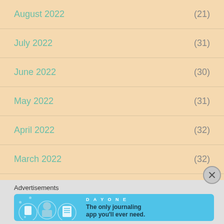August 2022 (21)
July 2022 (31)
June 2022 (30)
May 2022 (31)
April 2022 (32)
March 2022 (32)
February 2022 (29)
January 2022 (31)
Advertisements
[Figure (illustration): Day One journaling app advertisement banner with blue background, app icons, and tagline: The only journaling app you'll ever need.]